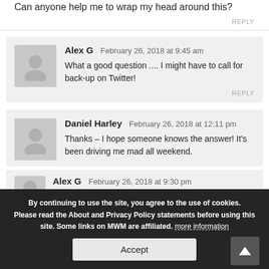Can anyone help me to wrap my head around this?
REPLY
Alex G  February 26, 2018 at 9:45 am
What a good question .... I might have to call for back-up on Twitter!
REPLY
Daniel Harley  February 26, 2018 at 12:11 pm
Thanks – I hope someone knows the answer! It's been driving me mad all weekend.
By continuing to use the site, you agree to the use of cookies. Please read the About and Privacy Policy statements before using this site. Some links on MWM are affiliated. more information
Accept
Alex G  February 26, 2018 at 9:30 pm